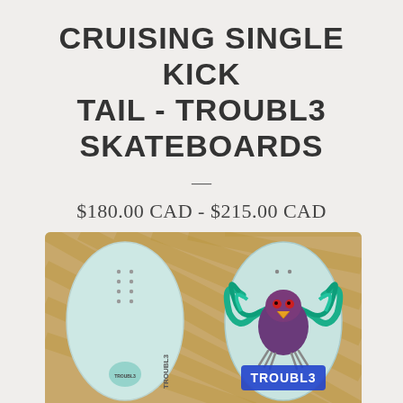CRUISING SINGLE KICK TAIL - TROUBL3 SKATEBOARDS
$180.00 CAD - $215.00 CAD
[Figure (photo): Two skateboard decks side by side on a wooden floor. Left deck shows the plain light blue/white underside with mounting hole dots. Right deck shows the graphic top side featuring a colorful eagle/bird monster illustration with teal wings, purple body, and TROUBL3 text in blue at the bottom.]